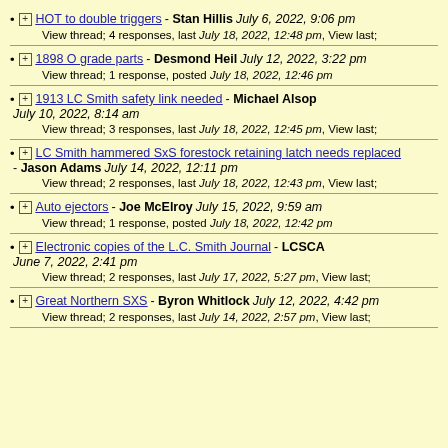HOT to double triggers - Stan Hillis July 6, 2022, 9:06 pm
View thread; 4 responses, last July 18, 2022, 12:48 pm, View last;
1898 O grade parts - Desmond Heil July 12, 2022, 3:22 pm
View thread; 1 response, posted July 18, 2022, 12:46 pm
1913 LC Smith safety link needed - Michael Alsop July 10, 2022, 8:14 am
View thread; 3 responses, last July 18, 2022, 12:45 pm, View last;
LC Smith hammered SxS forestock retaining latch needs replaced - Jason Adams July 14, 2022, 12:11 pm
View thread; 2 responses, last July 18, 2022, 12:43 pm, View last;
Auto ejectors - Joe McElroy July 15, 2022, 9:59 am
View thread; 1 response, posted July 18, 2022, 12:42 pm
Electronic copies of the L.C. Smith Journal - LCSCA June 7, 2022, 2:41 pm
View thread; 2 responses, last July 17, 2022, 5:27 pm, View last;
Great Northern SXS - Byron Whitlock July 12, 2022, 4:42 pm
View thread; 2 responses, last July 14, 2022, 2:57 pm, View last;